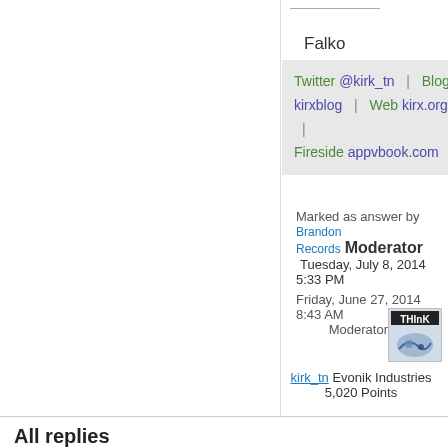Falko
Twitter @kirk_tn | Blog kirxblog | Web kirx.org | Fireside appvbook.com
Marked as answer by Brandon Records Moderator Tuesday, July 8, 2014 5:33 PM
Friday, June 27, 2014 8:43 AM
[Figure (illustration): Avatar image with THINK logo and blue design]
Moderator
kirk_tn Evonik Industries 5,020 Points
All replies